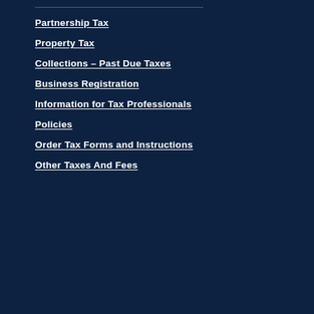Partnership Tax
Property Tax
Collections – Past Due Taxes
Business Registration
Information for Tax Professionals
Policies
Order Tax Forms and Instructions
Other Taxes And Fees